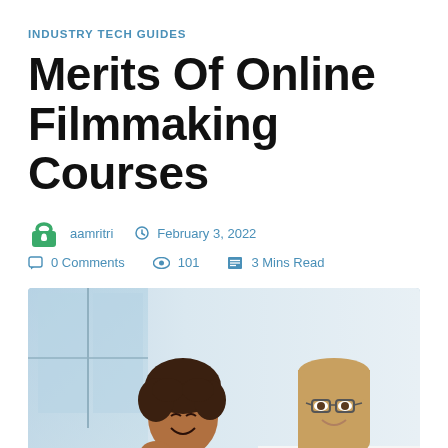INDUSTRY TECH GUIDES
Merits Of Online Filmmaking Courses
aamritri   February 3, 2022   0 Comments   101   3 Mins Read
[Figure (photo): Two women sitting together smiling and looking at a laptop screen. One has curly hair and the other has straight hair and glasses.]